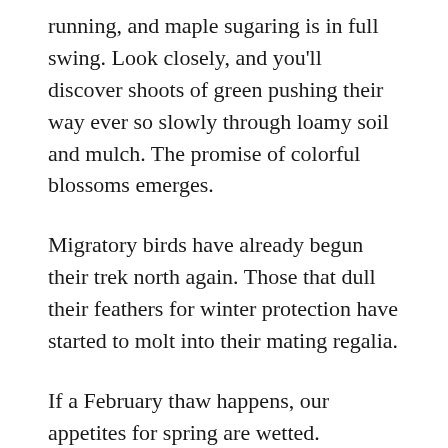running, and maple sugaring is in full swing. Look closely, and you'll discover shoots of green pushing their way ever so slowly through loamy soil and mulch. The promise of colorful blossoms emerges.
Migratory birds have already begun their trek north again. Those that dull their feathers for winter protection have started to molt into their mating regalia.
If a February thaw happens, our appetites for spring are wetted. However, let's not be too anxious and get ahead of ourselves. There is still plenty of winter to come.